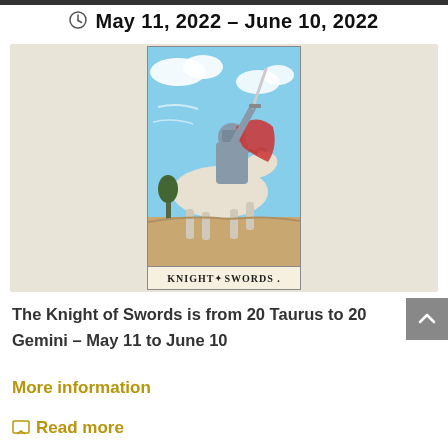May 11, 2022 – June 10, 2022
[Figure (illustration): Tarot card illustration of the Knight of Swords — an armored knight on a white horse charging with sword raised, wearing a red cape, against a blue sky with clouds. Card labeled KNIGHT of SWORDS at the bottom.]
The Knight of Swords is from 20 Taurus to 20 Gemini – May 11 to June 10
More information
Read more